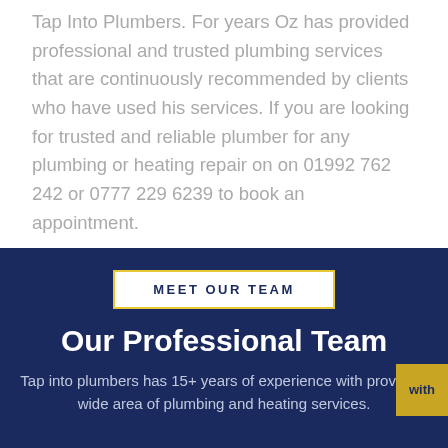Tap Into Plumbers. For years Oz has provided professional and trusted plumbing services that are continuously recommended by clients who have used his services. If you are looking for trusted and reliable plumber for any plumbing or heating repair on on 01992 762 242 or 0777 229 6239 to book an appointment.
MEET OUR TEAM
Our Professional Team
Tap into plumbers has 15+ years of experience with providing wide area of plumbing and heating services.